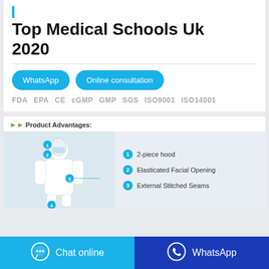Top Medical Schools Uk 2020
WhatsApp   Online consultation
FDA  EPA  CE  cGMP  GMP  SGS  ISO9001  ISO14001
[Figure (photo): Product advantages diagram showing a person in a white protective hazmat suit with numbered callouts: 1-2-piece hood, 2-Elasticated Facial Opening, 3-External Stitched Seams]
Chat online   WhatsApp